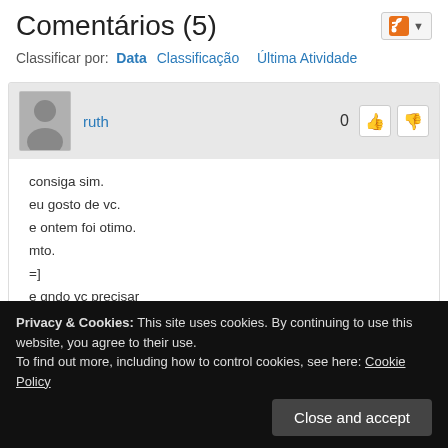Comentários (5)
Classificar por:  Data   Classificação   Última Atividade
ruth
0
consiga sim.
eu gosto de vc.
e ontem foi otimo.
mto.
=]
e qndo vc precisar
vc pode contar comigo.
sem medo, receios e constragimentos.
te amo
=*
Privacy & Cookies: This site uses cookies. By continuing to use this website, you agree to their use.
To find out more, including how to control cookies, see here: Cookie Policy
Close and accept
mto mto mto os seus
·****